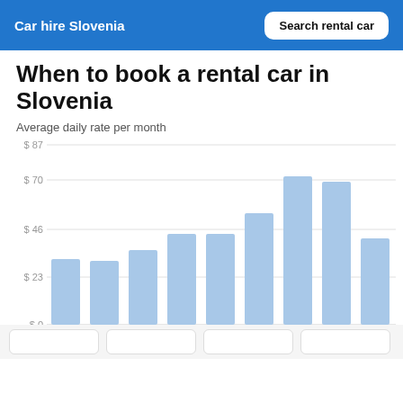Car hire Slovenia | Search rental car
When to book a rental car in Slovenia
Average daily rate per month
[Figure (bar-chart): Average daily rate per month]